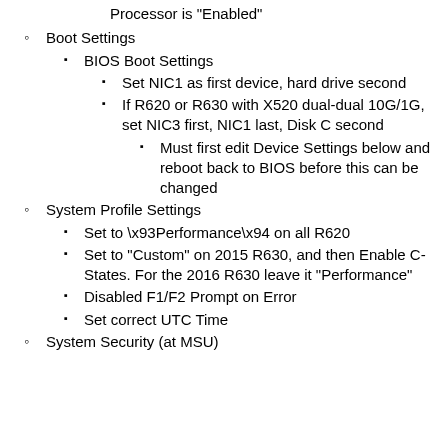Processor is "Enabled"
Boot Settings
BIOS Boot Settings
Set NIC1 as first device, hard drive second
If R620 or R630 with X520 dual-dual 10G/1G, set NIC3 first, NIC1 last, Disk C second
Must first edit Device Settings below and reboot back to BIOS before this can be changed
System Profile Settings
Set to \x93Performance\x94 on all R620
Set to "Custom" on 2015 R630, and then Enable C-States. For the 2016 R630 leave it "Performance"
Disabled F1/F2 Prompt on Error
Set correct UTC Time
System Security (at MSU)